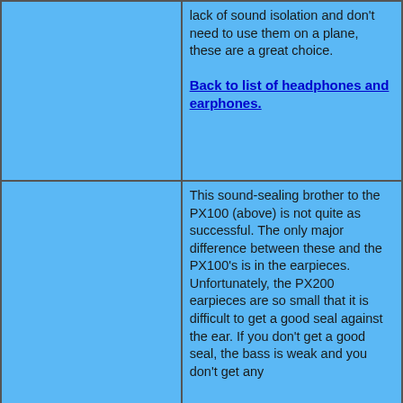| (image cell) | lack of sound isolation and don't need to use them on a plane, these are a great choice.

Back to list of headphones and earphones. |
| (image cell) | This sound-sealing brother to the PX100 (above) is not quite as successful. The only major difference between these and the PX100's is in the earpieces. Unfortunately, the PX200 earpieces are so small that it is difficult to get a good seal against the ear. If you don't get a good seal, the bass is weak and you don't get any... |